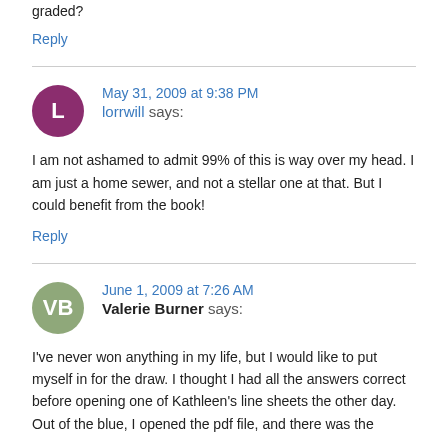graded?
Reply
May 31, 2009 at 9:38 PM
lorrwill says:
I am not ashamed to admit 99% of this is way over my head. I am just a home sewer, and not a stellar one at that. But I could benefit from the book!
Reply
June 1, 2009 at 7:26 AM
Valerie Burner says:
I've never won anything in my life, but I would like to put myself in for the draw. I thought I had all the answers correct before opening one of Kathleen's line sheets the other day. Out of the blue, I opened the pdf file, and there was the